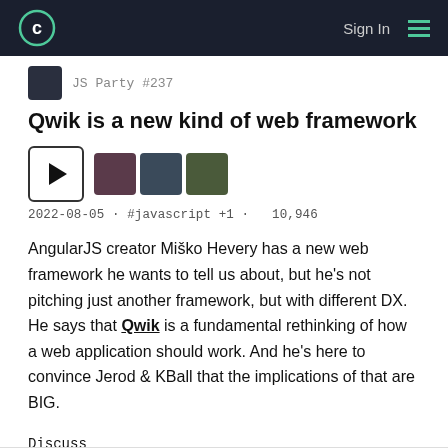Sign In
JS Party #237
Qwik is a new kind of web framework
2022-08-05 · #javascript +1 · 10,946
AngularJS creator Miško Hevery has a new web framework he wants to tell us about, but he's not pitching just another framework, but with different DX. He says that Qwik is a fundamental rethinking of how a web application should work. And he's here to convince Jerod & KBall that the implications of that are BIG.
Discuss